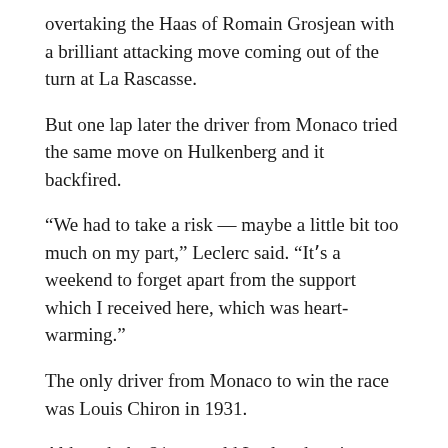overtaking the Haas of Romain Grosjean with a brilliant attacking move coming out of the turn at La Rascasse.
But one lap later the driver from Monaco tried the same move on Hulkenberg and it backfired.
“We had to take a risk — maybe a little bit too much on my part,” Leclerc said. “Itʼs a weekend to forget apart from the support which I received here, which was heart-warming.”
The only driver from Monaco to win the race was Louis Chiron in 1931.
Although the 21-year-old Leclerc has time well on his side, he now must wait at least another year.
More AP auto racing: https://apnews.com/apf-